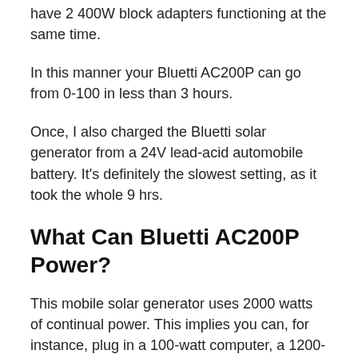have 2 400W block adapters functioning at the same time.
In this manner your Bluetti AC200P can go from 0-100 in less than 3 hours.
Once, I also charged the Bluetti solar generator from a 24V lead-acid automobile battery. It’s definitely the slowest setting, as it took the whole 9 hrs.
What Can Bluetti AC200P Power?
This mobile solar generator uses 2000 watts of continual power. This implies you can, for instance, plug in a 100-watt computer, a 1200-watt fridge, and a 700-watt air fryer.